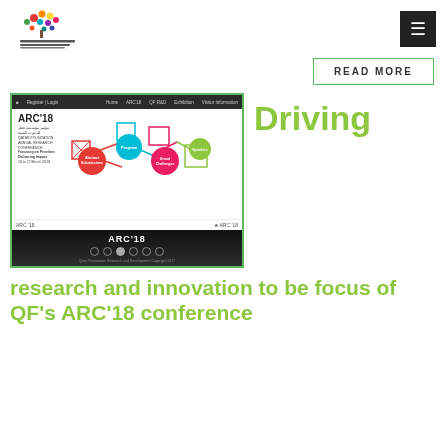[Figure (logo): Qatar Foundation for Research and Development logo with colorful tree icon and Arabic/English text]
READ MORE
[Figure (screenshot): Screenshot of ARC'18 conference website showing navigation bar, colorful bubble graphics for Abstract Submissions, Program, Grand Challenges, and Speakers, with ARC'18 footer bar]
Driving
research and innovation to be focus of QF's ARC'18 conference